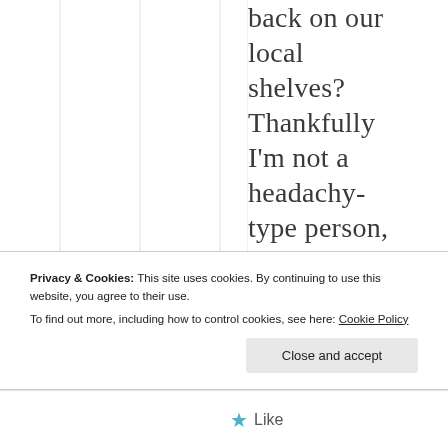back on our local shelves? Thankfully I'm not a headachy-type person, but when I've got
Privacy & Cookies: This site uses cookies. By continuing to use this website, you agree to their use. To find out more, including how to control cookies, see here: Cookie Policy
Like